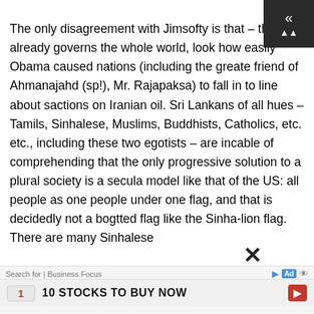The only disagreement with Jimsofty is that – the USA already governs the whole world, look how easily Obama caused nations (including the greate friend of Ahmanajahd (sp!), Mr. Rajapaksa) to fall in to line about sactions on Iranian oil. Sri Lankans of all hues – Tamils, Sinhalese, Muslims, Buddhists, Catholics, etc. etc., including these two egotists – are incable of comprehending that the only progressive solution to a plural society is a secula model like that of the US: all people as one people under one flag, and that is decidedly not a bogtted flag like the Sinha-lion flag. There are many Sinhalese
Search for | Business Focus
10 STOCKS TO BUY NOW